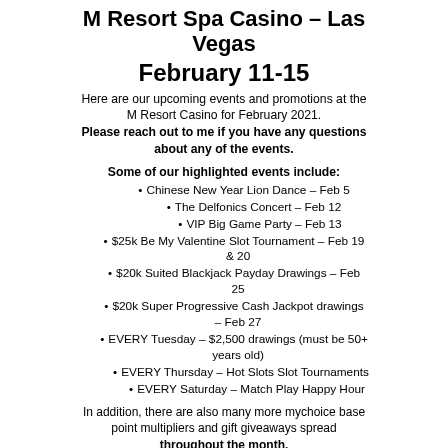M Resort Spa Casino – Las Vegas
February 11-15
Here are our upcoming events and promotions at the M Resort Casino for February 2021. Please reach out to me if you have any questions about any of the events.
Some of our highlighted events include:
Chinese New Year Lion Dance – Feb 5
The Delfonics Concert – Feb 12
VIP Big Game Party – Feb 13
$25k Be My Valentine Slot Tournament – Feb 19 & 20
$20k Suited Blackjack Payday Drawings – Feb 25
$20k Super Progressive Cash Jackpot drawings – Feb 27
EVERY Tuesday – $2,500 drawings (must be 50+ years old)
EVERY Thursday – Hot Slots Slot Tournaments
EVERY Saturday – Match Play Happy Hour
In addition, there are also many more mychoice base point multipliers and gift giveaways spread throughout the month.